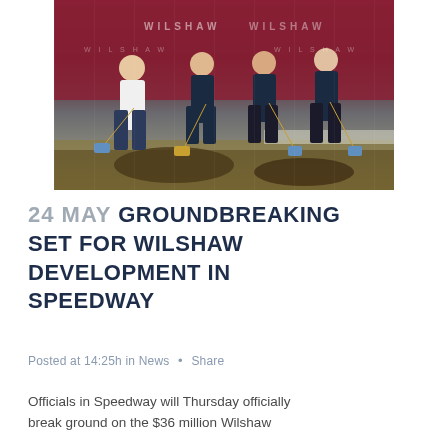[Figure (photo): Four people posing outdoors at a groundbreaking ceremony, each holding a shovel, with a dark red/maroon backdrop bearing the 'WILSHAW' logo and branding. Dirt is visible on the ground in front of them. The setting is bright and sunny.]
24 MAY GROUNDBREAKING SET FOR WILSHAW DEVELOPMENT IN SPEEDWAY
Posted at 14:25h in News · Share
Officials in Speedway will Thursday officially break ground on the $36 million Wilshaw